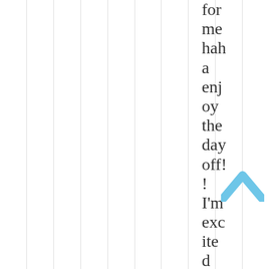for me haha enjoy the day off!! I'm excited to see my writing
[Figure (illustration): Light blue upward chevron/arrow icon overlaid on the text near the bottom right]